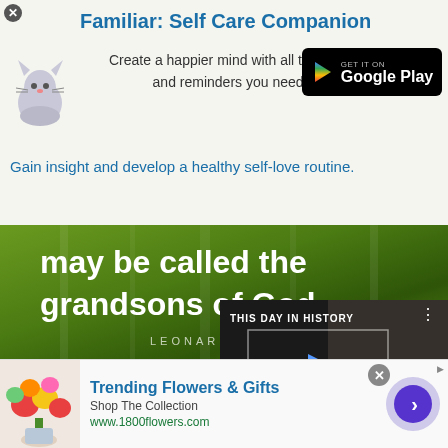[Figure (screenshot): App advertisement banner for 'Familiar: Self Care Companion' with cat illustration and Google Play button]
Familiar: Self Care Companion
Create a happier mind with all the tools and reminders you need.
Gain insight and develop a healthy self-love routine.
[Figure (photo): Inspirational quote image with green background showing text 'may be called the grandsons of God.' attributed to LEONARDO DA VINCI]
[Figure (screenshot): Video player overlay showing 'THIS DAY IN HISTORY' with play button, SEPTEMBER label, and video controls]
He raised his hand... have his 14-year-old grandson take it over.
[Figure (screenshot): Advertisement for Trending Flowers & Gifts showing flower bouquet, Shop The Collection, www.1800flowers.com, with navigation arrow]